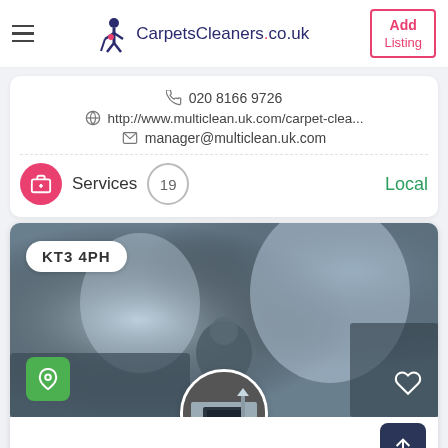CarpetsCleaners.co.uk — Add Listing
020 8166 9726
http://www.multiclean.uk.com/carpet-clea...
manager@multiclean.uk.com
Services  19  Local
[Figure (photo): Listing card with postcode badge KT3 4PH, blurred interior room background, green location icon, heart icon, circular profile thumbnail of a living room interior, and a scroll-to-top button]
KT3 4PH